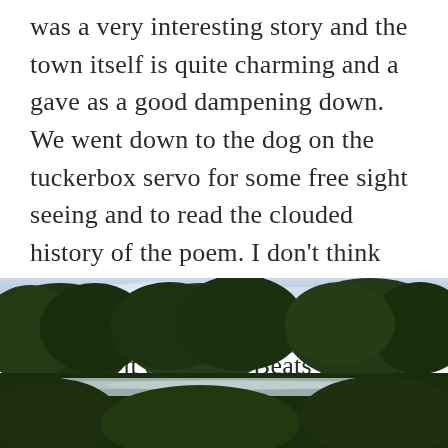was a very interesting story and the town itself is quite charming and a gave as a good dampening down. We went down to the dog on the tuckerbox servo for some free sight seeing and to read the clouded history of the poem. I don't think anyone would have heard of Gundagai without the poem but how did it catch on? Beats me, maybe it was Slim. And the five miles is actually 4.9 kms from the edge of town.
[Figure (photo): Outdoor photo showing large green trees with dense canopy against a cloudy sky, with the roof of a vehicle (possibly a caravan or large car) visible in the lower portion of the image.]